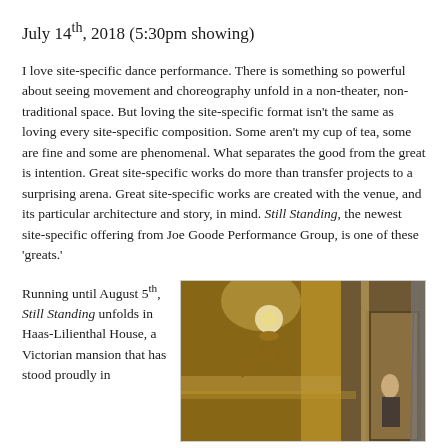July 14th, 2018 (5:30pm showing)
I love site-specific dance performance. There is something so powerful about seeing movement and choreography unfold in a non-theater, non-traditional space. But loving the site-specific format isn't the same as loving every site-specific composition. Some aren't my cup of tea, some are fine and some are phenomenal. What separates the good from the great is intention. Great site-specific works do more than transfer projects to a surprising arena. Great site-specific works are created with the venue, and its particular architecture and story, in mind. Still Standing, the newest site-specific offering from Joe Goode Performance Group, is one of these 'greats.'
Running until August 5th, Still Standing unfolds in Haas-Lilienthal House, a Victorian mansion that has stood proudly in
[Figure (photo): Interior of Haas-Lilienthal House showing an ornate wall sconce with warm lighting and a woman standing in a doorway in the background]